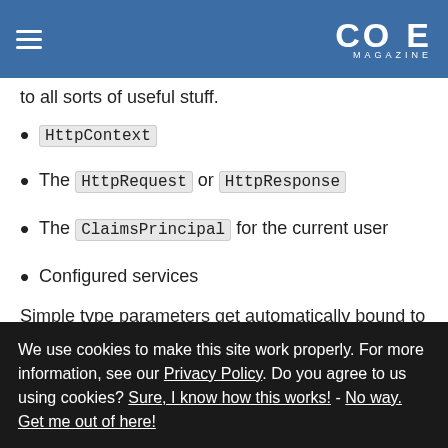CODE MAGAZINE
to all sorts of useful stuff.
HttpContext
The HttpRequest or HttpResponse
The ClaimsPrincipal for the current user
Configured services
Simple type parameters get automatically bound to route value and query string parameters:
[Figure (screenshot): Code block area with copy icon]
We use cookies to make this site work properly. For more information, see our Privacy Policy. Do you agree to us using cookies? Sure, I know how this works! - No way. Get me out of here!